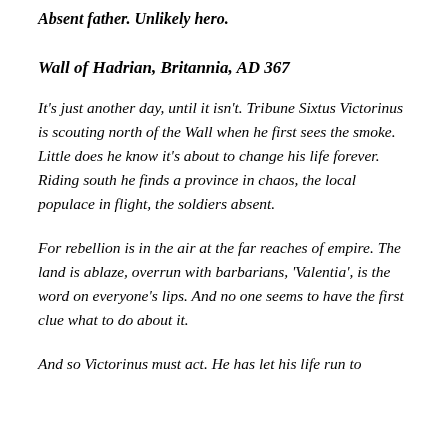Absent father. Unlikely hero.
Wall of Hadrian, Britannia, AD 367
It's just another day, until it isn't. Tribune Sixtus Victorinus is scouting north of the Wall when he first sees the smoke. Little does he know it's about to change his life forever. Riding south he finds a province in chaos, the local populace in flight, the soldiers absent.
For rebellion is in the air at the far reaches of empire. The land is ablaze, overrun with barbarians, 'Valentia', is the word on everyone's lips. And no one seems to have the first clue what to do about it.
And so Victorinus must act. He has let his life run to...